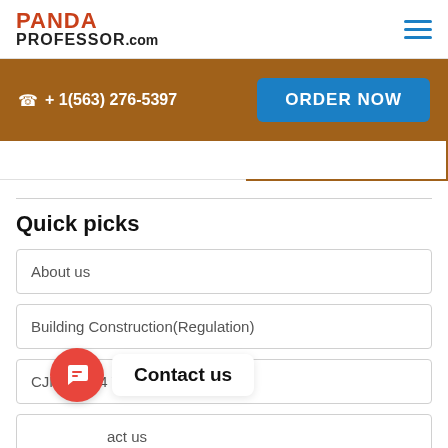[Figure (logo): PandaProfessor.com logo with panda skull graphic]
+ 1(563) 276-5397
ORDER NOW
Quick picks
About us
Building Construction(Regulation)
CJNS 5554 Week 7 Final Exam
Contact us
Dissertation writing services
Contact us